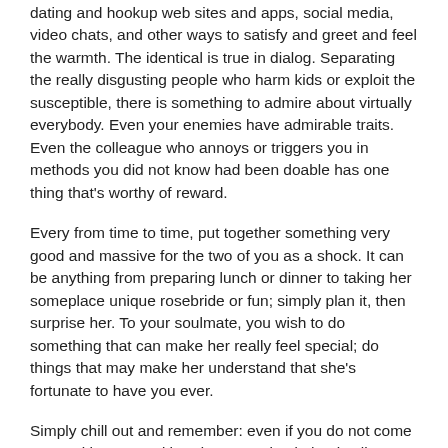dating and hookup web sites and apps, social media, video chats, and other ways to satisfy and greet and feel the warmth. The identical is true in dialog. Separating the really disgusting people who harm kids or exploit the susceptible, there is something to admire about virtually everybody. Even your enemies have admirable traits. Even the colleague who annoys or triggers you in methods you did not know had been doable has one thing that's worthy of reward.
Every from time to time, put together something very good and massive for the two of you as a shock. It can be anything from preparing lunch or dinner to taking her someplace unique rosebride or fun; simply plan it, then surprise her. To your soulmate, you wish to do something that can make her really feel special; do things that may make her understand that she's fortunate to have you ever.
Simply chill out and remember: even if you do not come away with a second hot date organized, that is all practice and observe makes excellent. As you get better and higher at dating, your first impression score will soar by way of the roof and you may see that an increasing rose brides number of of your dates will likely be all in favour of taking issues additional.
What makes Bumble completely different from different dating